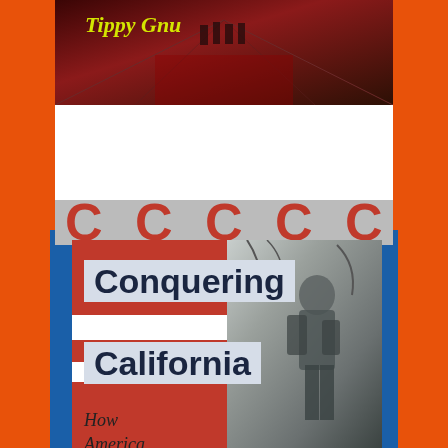[Figure (illustration): Book cover collage page showing two book covers on an orange/red decorative background with blue and red borders. Top cover shows 'Tippy Gnu' text in yellow on a dark reddish scene. Bottom cover shows 'Conquering California: How America Took California From...' with bold title text on grey/red panels overlaid on a black and white statue photo.]
Tippy Gnu
Conquering California
How America Took California From